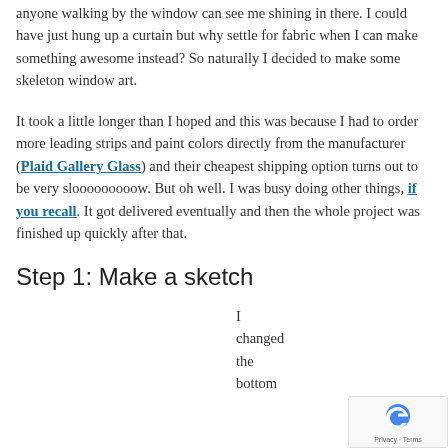anyone walking by the window can see me shining in there. I could have just hung up a curtain but why settle for fabric when I can make something awesome instead? So naturally I decided to make some skeleton window art.
It took a little longer than I hoped and this was because I had to order more leading strips and paint colors directly from the manufacturer (Plaid Gallery Glass) and their cheapest shipping option turns out to be very slooooooooow. But oh well. I was busy doing other things, if you recall. It got delivered eventually and then the whole project was finished up quickly after that.
Step 1: Make a sketch
I changed the bottom